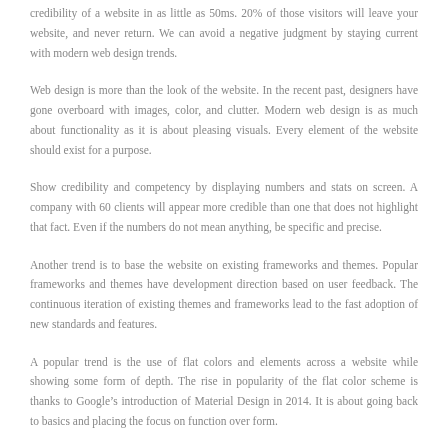credibility of a website in as little as 50ms. 20% of those visitors will leave your website, and never return. We can avoid a negative judgment by staying current with modern web design trends.
Web design is more than the look of the website. In the recent past, designers have gone overboard with images, color, and clutter. Modern web design is as much about functionality as it is about pleasing visuals. Every element of the website should exist for a purpose.
Show credibility and competency by displaying numbers and stats on screen. A company with 60 clients will appear more credible than one that does not highlight that fact. Even if the numbers do not mean anything, be specific and precise.
Another trend is to base the website on existing frameworks and themes. Popular frameworks and themes have development direction based on user feedback. The continuous iteration of existing themes and frameworks lead to the fast adoption of new standards and features.
A popular trend is the use of flat colors and elements across a website while showing some form of depth. The rise in popularity of the flat color scheme is thanks to Google's introduction of Material Design in 2014. It is about going back to basics and placing the focus on function over form.